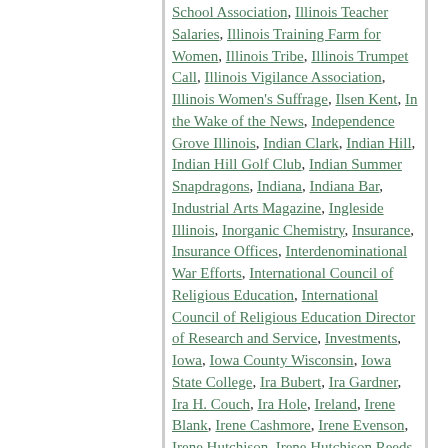School Association, Illinois Teacher Salaries, Illinois Training Farm for Women, Illinois Tribe, Illinois Trumpet Call, Illinois Vigilance Association, Illinois Women's Suffrage, Ilsen Kent, In the Wake of the News, Independence Grove Illinois, Indian Clark, Indian Hill, Indian Hill Golf Club, Indian Summer Snapdragons, Indiana, Indiana Bar, Industrial Arts Magazine, Ingleside Illinois, Inorganic Chemistry, Insurance, Insurance Offices, Interdenominational War Efforts, International Council of Religious Education, International Council of Religious Education Director of Research and Service, Investments, Iowa, Iowa County Wisconsin, Iowa State College, Ira Bubert, Ira Gardner, Ira H. Couch, Ira Hole, Ireland, Irene Blank, Irene Cashmore, Irene Evenson, Irene Hutchison, Irene Hutchison Reeds, Irene Juhrend, Irene Rockenbach, Irene Rockenbach, Irene Sanders, Iris, Irises, Irish, Irma L. Krieg, Irma Neargarder, Iroquois, Irvin Kaufman, Irving Antes, Irving Dunlap, Irving Park, Irving Park Chicago Illinois, Irving Rehm, Irving Tupper, Irving Whitcomb, Irwin Antes, Irwin Plagge, Isaac, Isaac Galloway, Isaac Hoeffert, Isabel Biederstedt, Isabel Bradley, Isabel Cadwell, Isabel Juhrend, Isabella G. Millen, Isabella G. Millen Billson, Island Park